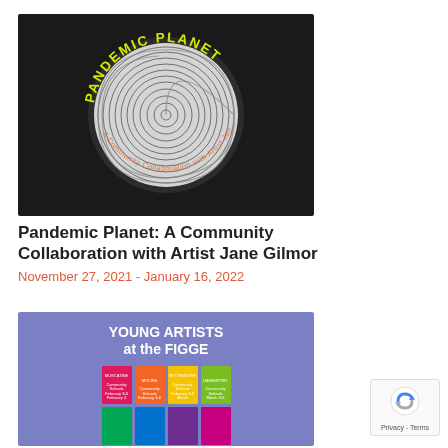[Figure (photo): Dark background circular logo for 'Pandemic Planet: A Community Collaboration with Artist Jane Gilmor' with yellow text around the top arc, white spiral drawing in the center circle, and orange text along the bottom arc.]
Pandemic Planet: A Community Collaboration with Artist Jane Gilmor
November 27, 2021 - January 16, 2022
[Figure (photo): Young Artists at the FIGGE promotional graphic with purple/blue background, white bold title text, and a grid of colored Pantone-style swatches (pink/magenta, orange, yellow, green on top row; teal/green, blue, purple/violet, magenta/pink on second row) with small text labels.]